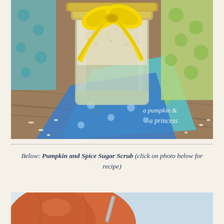[Figure (photo): A glass mason jar filled with sugar scrub, tied with a bright yellow ribbon bow, sitting on colorful patterned fabric napkins on a wooden surface with scattered sugar crystals. Watermark reads 'a pumpkin & a princess' in the bottom right corner.]
Below: Pumpkin and Spice Sugar Scrub (click on photo below for recipe)
[Figure (photo): Close-up photo of a pumpkin and spice sugar scrub in a jar, showing orange pumpkin colored scrub mixture.]